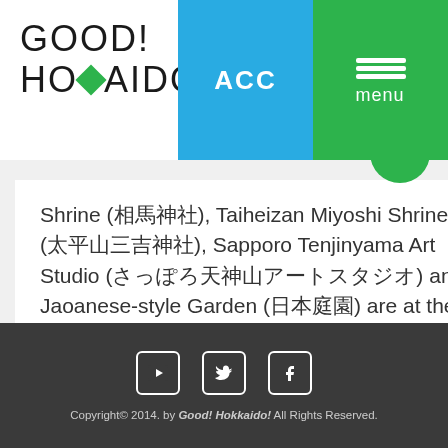[Figure (logo): GOOD! HOKKAIDO! logo with green diamond shape replacing the A in HOKKAIDO]
English (dropdown)
ACC
menu
Shrine (相馬神社), Taiheizan Miyoshi Shrine (太平山三吉神社), Sapporo Tenjinyama Art Studio (さっぽろ天神山アートスタジオ) and Jaoanese-style Garden (日本庭園) are at the site.
Read More
[Figure (illustration): Scroll to top arrow button (green circle with white upward chevron)]
[Figure (illustration): Social media icons: YouTube, Twitter, Facebook]
Copyright© 2014. by Good! Hokkaido! All Rights Reserved.